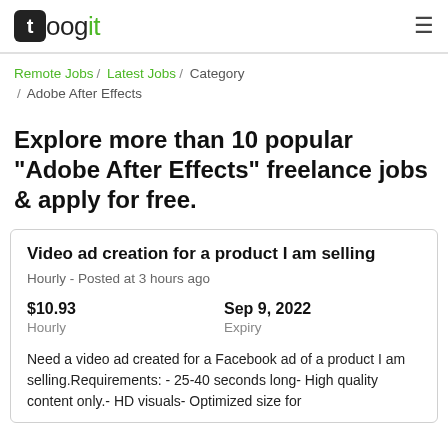[Figure (logo): Toogit logo: black rounded square with white 't', followed by 'oogit' text with 'it' in green]
Remote Jobs / Latest Jobs / Category / Adobe After Effects
Explore more than 10 popular "Adobe After Effects" freelance jobs & apply for free.
Video ad creation for a product I am selling
Hourly - Posted at 3 hours ago
$10.93
Hourly
Sep 9, 2022
Expiry
Need a video ad created for a Facebook ad of a product I am selling.Requirements: - 25-40 seconds long- High quality content only.- HD visuals- Optimized size for